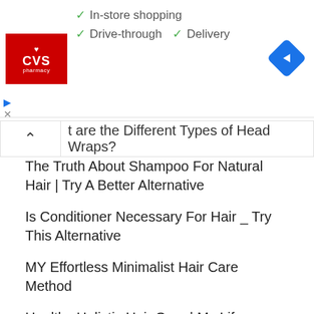[Figure (screenshot): CVS Pharmacy advertisement banner showing logo with checkmarks for In-store shopping, Drive-through, and Delivery services, with a blue navigation diamond icon on the right]
t are the Different Types of Head Wraps?
The Truth About Shampoo For Natural Hair | Try A Better Alternative
Is Conditioner Necessary For Hair _ Try This Alternative
MY Effortless Minimalist Hair Care Method
Healthy Holistic Hair Care | My Life Journey
CATEGORIES
All Articles
Boho Style